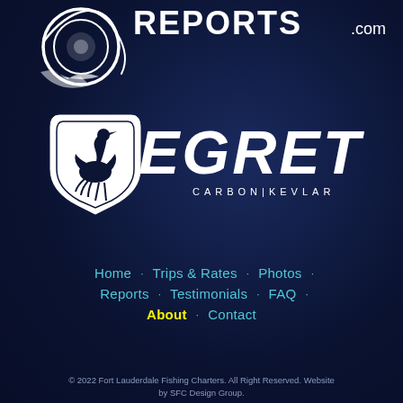[Figure (logo): FLFishing Reports.com logo at top - circular fishing line reel graphic with REPORTS.com text in white on dark navy background]
[Figure (logo): Egret Carbon Kevlar logo - shield emblem with egret bird silhouette and stylized EGRET text with CARBON|KEVLAR subtitle in white on dark navy background]
Home · Trips & Rates · Photos · Reports · Testimonials · FAQ · About · Contact
© 2022 Fort Lauderdale Fishing Charters. All Right Reserved. Website by SFC Design Group.